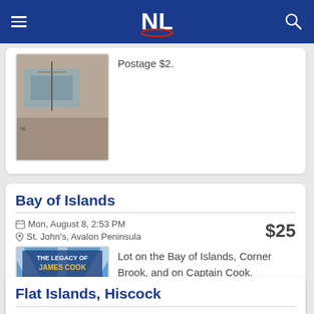NL (navigation bar)
Postage $2.
Bay of Islands
Mon, August 8, 2:53 PM
$25
St. John's, Avalon Peninsula
[Figure (photo): Book cover: The Legacy of James Cook]
Lot on the Bay of Islands, Corner Brook, and on Captain Cook.
Flat Islands, Hiscock